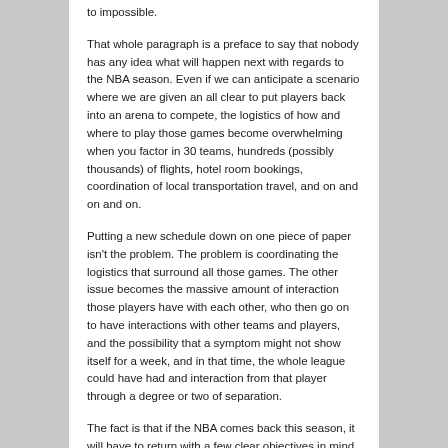to impossible.
That whole paragraph is a preface to say that nobody has any idea what will happen next with regards to the NBA season. Even if we can anticipate a scenario where we are given an all clear to put players back into an arena to compete, the logistics of how and where to play those games become overwhelming when you factor in 30 teams, hundreds (possibly thousands) of flights, hotel room bookings, coordination of local transportation travel, and on and on and on.
Putting a new schedule down on one piece of paper isn't the problem. The problem is coordinating the logistics that surround all those games. The other issue becomes the massive amount of interaction those players have with each other, who then go on to have interactions with other teams and players, and the possibility that a symptom might not show itself for a week, and in that time, the whole league could have had and interaction from that player through a degree or two of separation.
The fact is that if the NBA comes back this season, it will have to return with a few clear objectives in mind. Namely:
Condensed Travel Plans – We can not pick